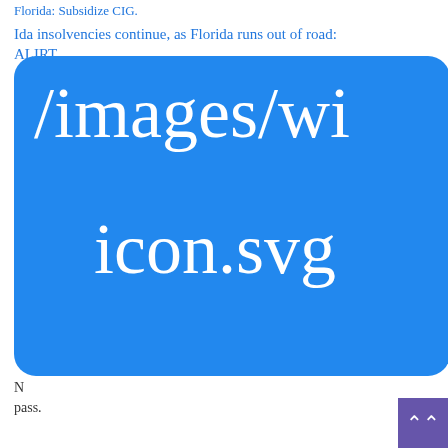Florida: Subsidize CIG.
Ida insolvencies continue, as Florida runs out of road: ALIRT.
[Figure (illustration): Blue rounded rectangle placeholder image showing broken image path text: /images/wid... icon.svg]
N... pass.
Another one bites the dust – Florida's insurance failures